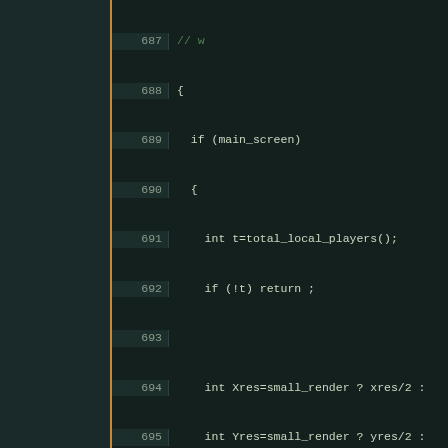[Figure (screenshot): Code editor screenshot showing C++ source code lines 687-719 with line numbers on a dark teal background. Left panel is dark with an orange vertical line. Code includes a function body with main_screen check, player list iteration, and suggest struct assignments.]